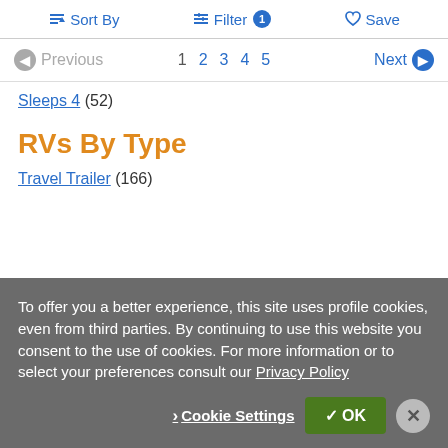Sort By   Filter 1   Save
Previous  1 2 3 4 5  Next
Sleeps 4 (52)
RVs By Type
Travel Trailer (166)
To offer you a better experience, this site uses profile cookies, even from third parties. By continuing to use this website you consent to the use of cookies. For more information or to select your preferences consult our Privacy Policy
Cookie Settings   OK   ×